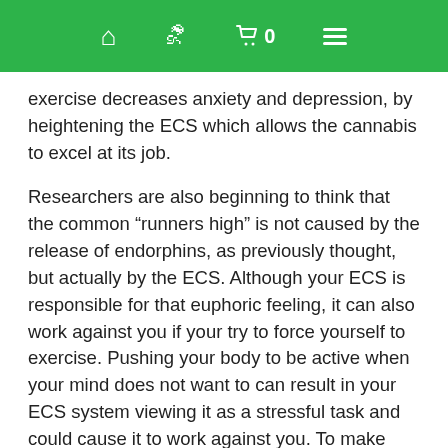Navigation bar with home, profile, cart (0), and menu icons
exercise decreases anxiety and depression, by heightening the ECS which allows the cannabis to excel at its job.
Researchers are also beginning to think that the common “runners high” is not caused by the release of endorphins, as previously thought, but actually by the ECS. Although your ECS is responsible for that euphoric feeling, it can also work against you if your try to force yourself to exercise. Pushing your body to be active when your mind does not want to can result in your ECS system viewing it as a stressful task and could cause it to work against you. To make sure you are getting the most from your activity, find some sort of aerobic activity you enjoy. Dancing, hiking, swimming, or playing sports are all excellent ways to exercise your body without taxing your mind.
Chronic pain has been shown to tax the ECS and often